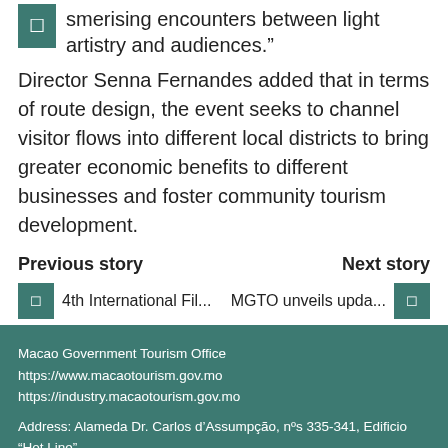smerising encounters between light artistry and audiences.”
Director Senna Fernandes added that in terms of route design, the event seeks to channel visitor flows into different local districts to bring greater economic benefits to different businesses and foster community tourism development.
Previous story
Next story
4th International Fil...
MGTO unveils upda...
Macao Government Tourism Office
https://www.macaotourism.gov.mo
https://industry.macaotourism.gov.mo

Address: Alameda Dr. Carlos d’Assumpção, nºs 335-341, Edificio “Hot Line”, 12º andar, Macau
Tel: (853) 2831 5566 | Fax: (853) 2851 0104 | Tourism Hotline: (853) 2833 3000
© Copyright 2020 MGTO. All rights reserved. | Terms & Conditions | Contact Us